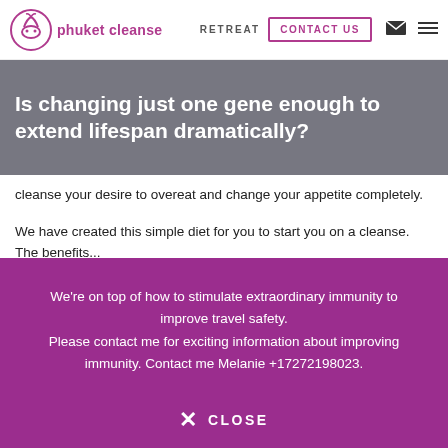phuket cleanse — RETREAT | CONTACT US
Is changing just one gene enough to extend lifespan dramatically?
cleanse your desire to overeat and change your appetite completely.
We have created this simple diet for you to start you on a cleanse. The benefits...
We're on top of how to stimulate extraordinary immunity to improve travel safety. Please contact me for exciting information about improving immunity. Contact me Melanie +17272198023.
✕ CLOSE